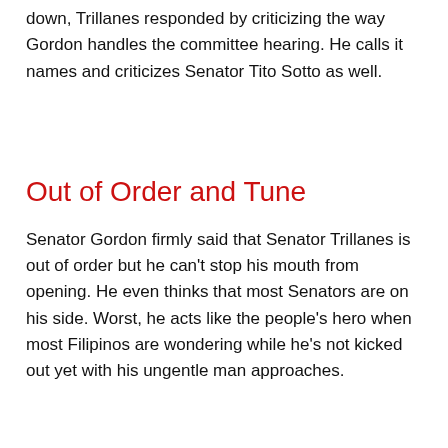down, Trillanes responded by criticizing the way Gordon handles the committee hearing. He calls it names and criticizes Senator Tito Sotto as well.
Out of Order and Tune
Senator Gordon firmly said that Senator Trillanes is out of order but he can't stop his mouth from opening. He even thinks that most Senators are on his side. Worst, he acts like the people's hero when most Filipinos are wondering while he's not kicked out yet with his ungentle man approaches.